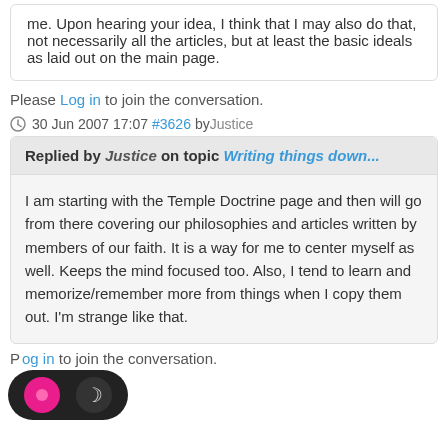me. Upon hearing your idea, I think that I may also do that, not necessarily all the articles, but at least the basic ideals as laid out on the main page.
Please Log in to join the conversation.
30 Jun 2007 17:07 #3626 by Justice
Replied by Justice on topic Writing things down...
I am starting with the Temple Doctrine page and then will go from there covering our philosophies and articles written by members of our faith. It is a way for me to center myself as well. Keeps the mind focused too. Also, I tend to learn and memorize/remember more from things when I copy them out. I'm strange like that.
Please Log in to join the conversation.